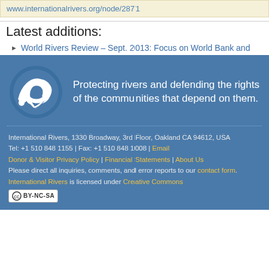www.internationalrivers.org/node/2871
Latest additions:
World Rivers Review – Sept. 2013: Focus on World Bank and
Protecting rivers and defending the rights of the communities that depend on them.
International Rivers, 1330 Broadway, 3rd Floor, Oakland CA 94612, USA
Tel: +1 510 848 1155 | Fax: +1 510 848 1008 | Email
Donor & Visitor Privacy Policy | Financial Statements | About Us
Please direct all inquiries, comments, and error reports to our contact form.
International Rivers is licensed under Creative Commons
[Figure (logo): Creative Commons BY-NC-SA license badge]